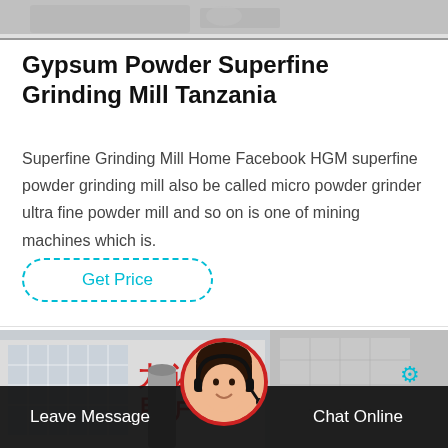[Figure (photo): Top partial image of machinery or equipment, grayscale/muted]
Gypsum Powder Superfine Grinding Mill Tanzania
Superfine Grinding Mill Home Facebook HGM superfine powder grinding mill also be called micro powder grinder ultra fine powder mill and so on is one of mining machines which is.
Get Price
[Figure (photo): Building exterior with Chinese text, factory/industrial setting]
Leave Message
Chat Online